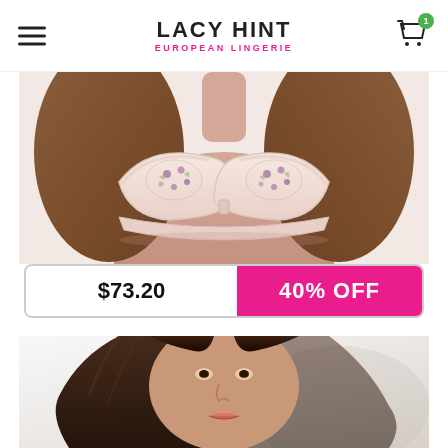LACY HINT EUROPEAN LINGERIE
[Figure (photo): Close-up of a woman wearing a light pink lace bra with purple floral embroidery details]
$73.20   40% OFF
[Figure (photo): Woman with dark brown hair, partial view of face and upper body in lingerie product shot]